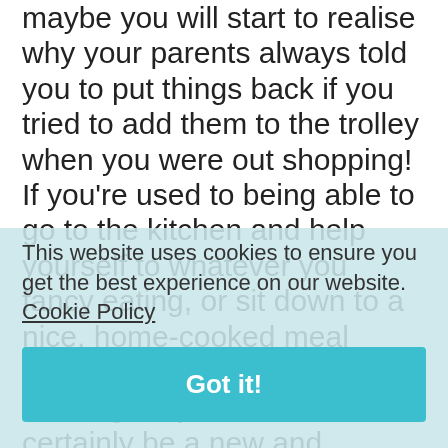maybe you will start to realise why your parents always told you to put things back if you tried to add them to the trolley when you were out shopping! If you're used to being able to go to the kitchen and help yourself to whatever you fancy eating, or sit down to a nice, home-cooked meal every evening, shopping and cooking for yourself will certainly be a new and interesting experience. When everything is laid on at home it's easy to think of food and drink as being free. However, it will actually use up a large chunk of your budget while you're at college. Let's go to find out how of how things really cost and how you can easily eat whilst still eating well.
This website uses cookies to ensure you get the best experience on our website. Cookie Policy
Got it!